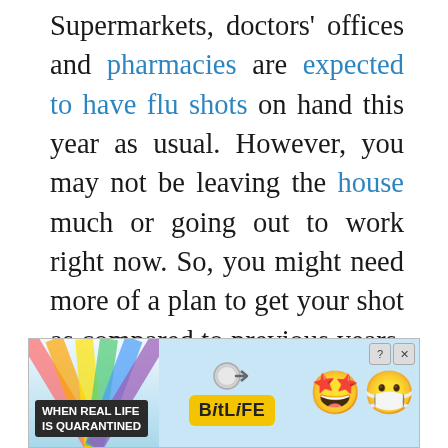Supermarkets, doctors' offices and pharmacies are expected to have flu shots on hand this year as usual. However, you may not be leaving the house much or going out to work right now. So, you might need more of a plan to get your shot as compared to previous years, when you could easily get your vaccine while out and about.

Because of the COVID-19 pandemic, experts say, it is more important than ever to get a flu shot. This will help ensure hospitals are not
[Figure (infographic): Advertisement banner for BitLife mobile app. Text reads 'WHEN REAL LIFE IS QUARANTINED' with arrow pointing to BitLife logo, featuring emoji characters with star eyes and face mask.]